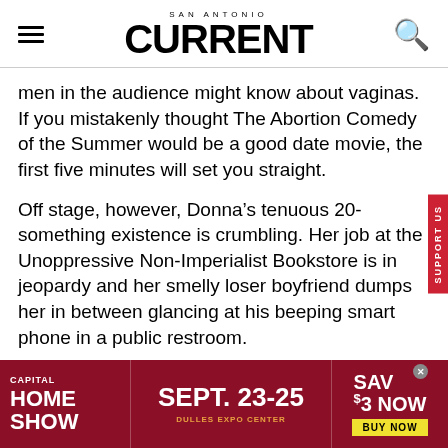SAN ANTONIO CURRENT
men in the audience might know about vaginas. If you mistakenly thought The Abortion Comedy of the Summer would be a good date movie, the first five minutes will set you straight.
Off stage, however, Donna’s tenuous 20-something existence is crumbling. Her job at the Unoppressive Non-Imperialist Bookstore is in jeopardy and her smelly loser boyfriend dumps her in between glancing at his beeping smart phone in a public restroom.
[Figure (infographic): Capital Home Show advertisement banner: SEPT. 23-25 DULLES EXPO CENTER. Save $3 Now. Buy Now button.]